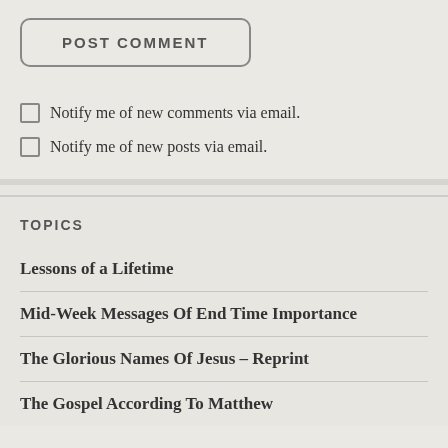POST COMMENT
Notify me of new comments via email.
Notify me of new posts via email.
TOPICS
Lessons of a Lifetime
Mid-Week Messages Of End Time Importance
The Glorious Names Of Jesus – Reprint
The Gospel According To Matthew